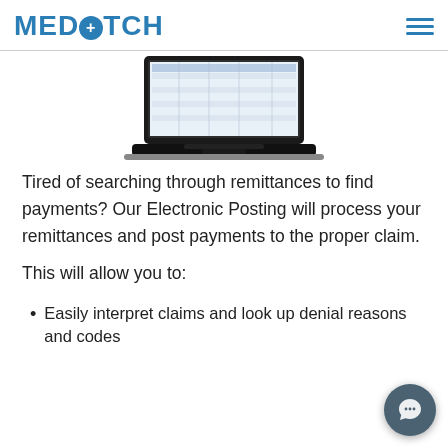MEDBATCH
[Figure (screenshot): Laptop computer displaying a spreadsheet or data table interface, shown from a slightly elevated angle against a white background.]
Tired of searching through remittances to find payments?  Our Electronic Posting will process your remittances and post payments to the proper claim.
This will allow you to:
Easily interpret claims and look up denial reasons and codes